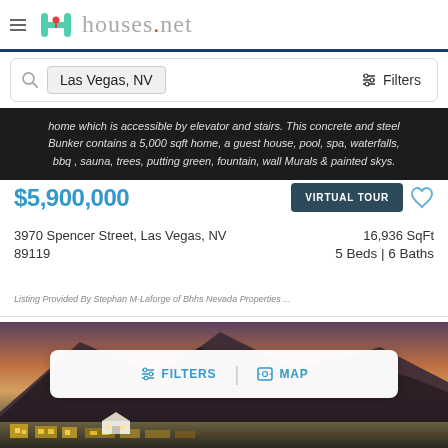houses.net — Las Vegas, NV property listings
home which is accessible by elevator and stairs. This concrete and steel Bunker contains a 5,000 sqft home, a guest house, pool, spa, waterfalls, bbq , sauna, trees, putting green, fountain, wall Murals & painted skys.
$5,900,000
VIRTUAL TOUR
3970 Spencer Street, Las Vegas, NV 89119
16,936 SqFt
5 Beds | 6 Baths
Listing Provided By Stephan M-Laforge of Bhhs Nevada Properties ...
[Figure (photo): Aerial/exterior photo of a Las Vegas property at sunset showing mountain backdrop and illuminated homes]
FILTERS | MAP